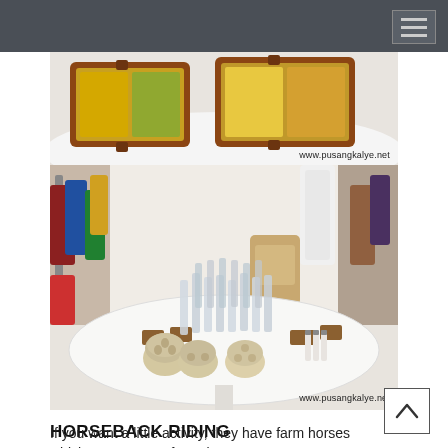[Figure (photo): Top: Decorative wooden trays with colorful contents displayed on a white surface, watermarked www.pusangkalye.net. Bottom: A round white display table covered with numerous glass and clear plastic bottles, small ceramic aroma diffusers, and wooden product holders in a boutique shop setting, watermarked www.pusangkalye.net.]
HORSEBACK RIDING
If you want a little activity, they have farm horses which you can rent for only 50 pesos